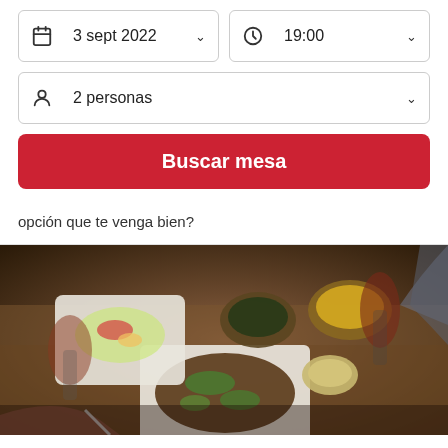3 sept 2022
19:00
2 personas
Buscar mesa
opción que te venga bien?
[Figure (photo): Overhead photo of a restaurant table with multiple dishes including grilled meat with green herb sauce, salad, bowls of soup/dips, and two wine glasses with red wine being held by diners]